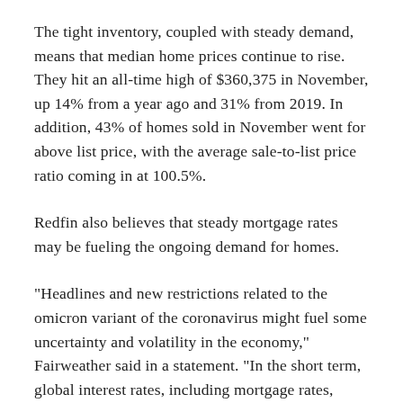The tight inventory, coupled with steady demand, means that median home prices continue to rise. They hit an all-time high of $360,375 in November, up 14% from a year ago and 31% from 2019. In addition, 43% of homes sold in November went for above list price, with the average sale-to-list price ratio coming in at 100.5%.
Redfin also believes that steady mortgage rates may be fueling the ongoing demand for homes.
"Headlines and new restrictions related to the omicron variant of the coronavirus might fuel some uncertainty and volatility in the economy," Fairweather said in a statement. "In the short term, global interest rates, including mortgage rates, could fall. In this extremely tight housing market, we would